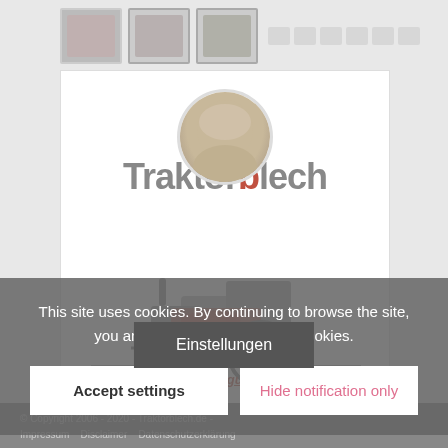[Figure (screenshot): Website screenshot of Traktorblech.de showing logo with tractor illustration, profile photo of Rolf Krömer, and German tagline]
This site uses cookies. By continuing to browse the site, you are agreeing to our use of cookies.
Accept settings
Hide notification only
Einstellungen
© Copyright 2006 - 2020 - Traktorblech.de - Impressum   Disclaimer   Datenschutzerklärung